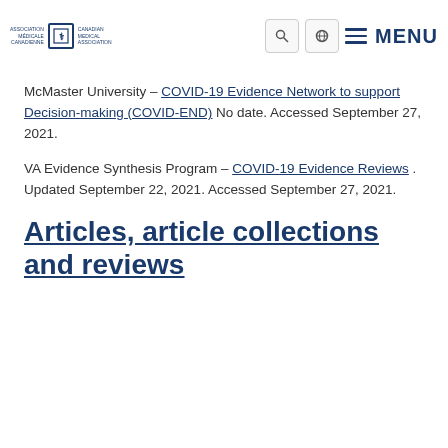Canadian Medical Association logo and MENU navigation
McMaster University – COVID-19 Evidence Network to support Decision-making (COVID-END) No date. Accessed September 27, 2021.
VA Evidence Synthesis Program – COVID-19 Evidence Reviews . Updated September 22, 2021. Accessed September 27, 2021.
Articles, article collections and reviews